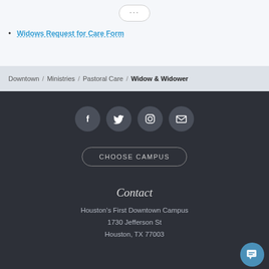Widows Request for Care Form
Downtown / Ministries / Pastoral Care / Widow & Widower
[Figure (other): Social media icon buttons: Facebook, Twitter, Instagram, Email]
CHOOSE CAMPUS
Contact
Houston's First Downtown Campus
1730 Jefferson St
Houston, TX 77003